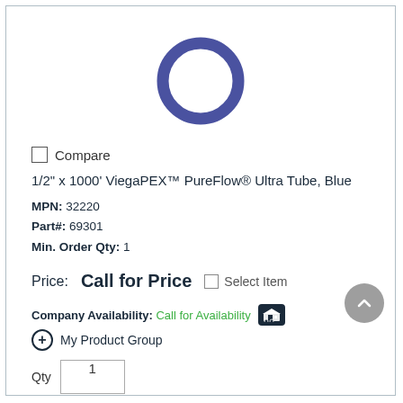[Figure (illustration): Blue O-ring / circular tube ring product image shown as a thick blue circle outline on white background]
Compare
1/2" x 1000' ViegaPEX™ PureFlow® Ultra Tube, Blue
MPN: 32220
Part#: 69301
Min. Order Qty: 1
Price: Call for Price   Select Item
Company Availability: Call for Availability
My Product Group
Qty  1
ADD TO CART